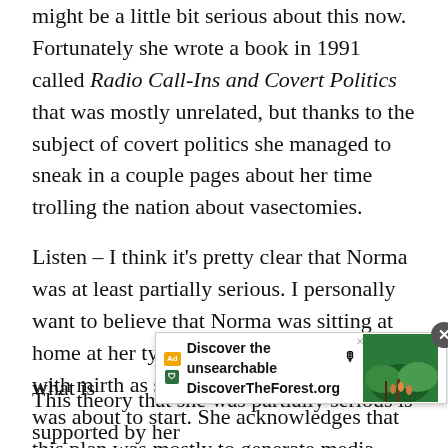might be a little bit serious about this now. Fortunately she wrote a book in 1991 called Radio Call-Ins and Covert Politics that was mostly unrelated, but thanks to the subject of covert politics she managed to sneak in a couple pages about her time trolling the nation about vasectomies.
Listen – I think it's pretty clear that Norma was at least partially serious. I personally want to believe that Norma was sitting at home at her typewriter positively crying with mirth as she thought of all the shit she was about to start. She acknowledges that this plan was mostly to generate media attention for herself just to see how many radio shows she could get herself on – also a worthy goal – but she also characterizes the vasectomy idea as "an extremely anti-male suggestion," and if that's not an acknowledgement of her true motives then I don't know what is
[Figure (other): Advertisement overlay for DiscoverTheForest.org with text 'Discover the unsearchable' and photo of people hiking in a forest. Has a close (X) button.]
This theory that she was partially serious is supported by her